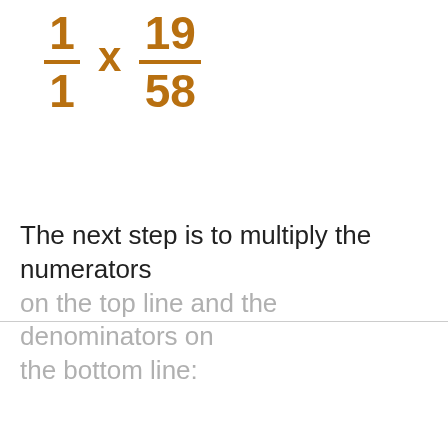The next step is to multiply the numerators on the top line and the denominators on the bottom line: